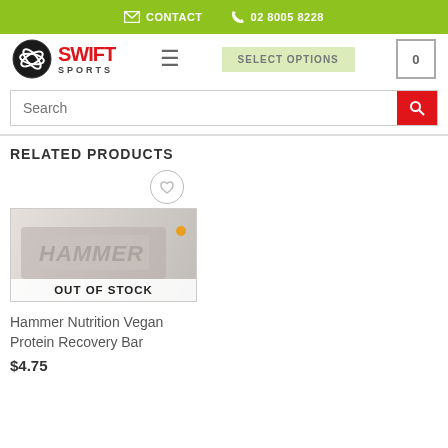CONTACT  02 8005 8228
[Figure (logo): Swift Sports logo with circular striped emblem and red/grey text]
SELECT OPTIONS
0 (cart)
Search
RELATED PRODUCTS
[Figure (photo): Hammer Nutrition product image showing OUT OF STOCK banner]
Hammer Nutrition Vegan Protein Recovery Bar
$4.75